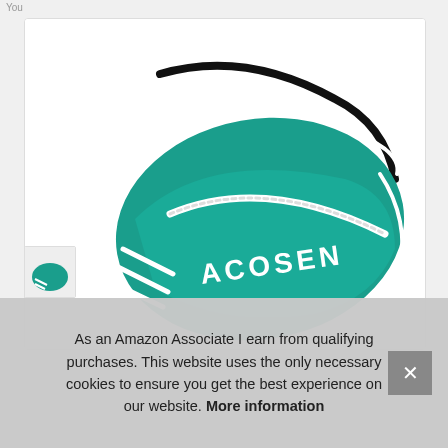You
[Figure (photo): ACOSEN branded teal/green tennis racket bag with white stripe accents and shoulder strap, photographed against white background]
As an Amazon Associate I earn from qualifying purchases. This website uses the only necessary cookies to ensure you get the best experience on our website. More information